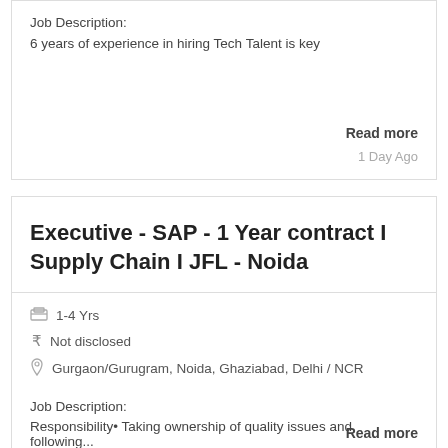Job Description:
6 years of experience in hiring Tech Talent is key
Read more
1 Day Ago
Executive - SAP - 1 Year contract I Supply Chain I JFL - Noida
1-4 Yrs
₹ Not disclosed
Gurgaon/Gurugram, Noida, Ghaziabad, Delhi / NCR
Job Description:
Responsibility• Taking ownership of quality issues and following...
Read more